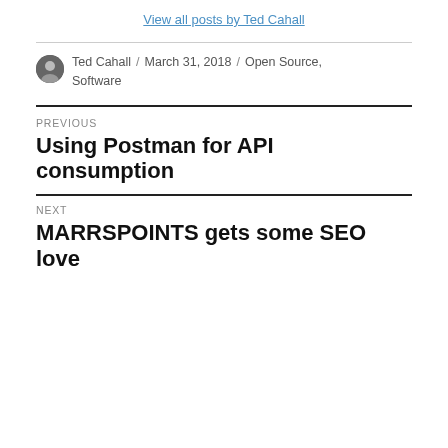View all posts by Ted Cahall
Ted Cahall / March 31, 2018 / Open Source, Software
PREVIOUS
Using Postman for API consumption
NEXT
MARRSPOINTS gets some SEO love